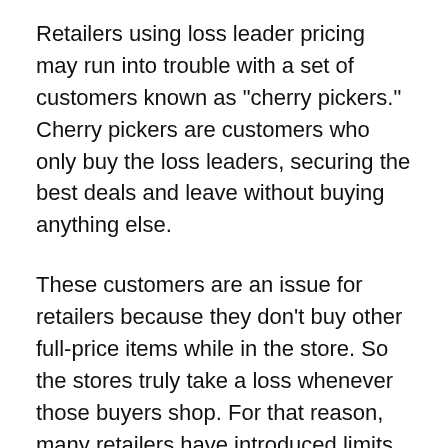Retailers using loss leader pricing may run into trouble with a set of customers known as "cherry pickers." Cherry pickers are customers who only buy the loss leaders, securing the best deals and leave without buying anything else.
These customers are an issue for retailers because they don't buy other full-price items while in the store. So the stores truly take a loss whenever those buyers shop. For that reason, many retailers have introduced limits to the quantity of sale items that can be purchased at one time.